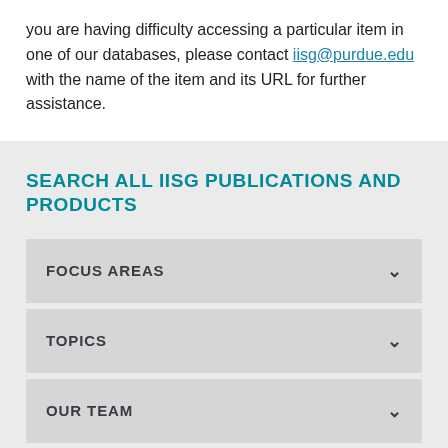you are having difficulty accessing a particular item in one of our databases, please contact iisg@purdue.edu with the name of the item and its URL for further assistance.
SEARCH ALL IISG PUBLICATIONS AND PRODUCTS
FOCUS AREAS
TOPICS
OUR TEAM
TYPES